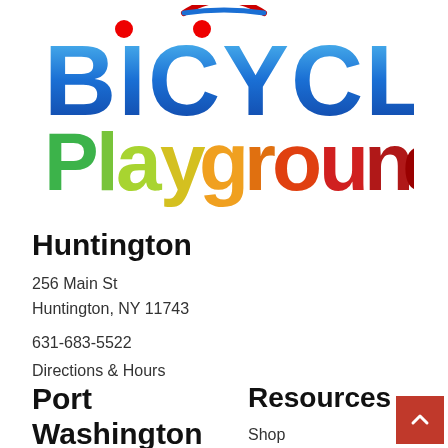[Figure (logo): Bicycle Playground logo with colorful text — BICYCLE in blue gradient with red dot accents, PLAYGROUND in multicolor (green, yellow, orange, red) letters]
Huntington
256 Main St
Huntington, NY 11743
631-683-5522
Directions & Hours
Port Washington
101 Manorhaven Blvd
Resources
Shop
Bike Repair